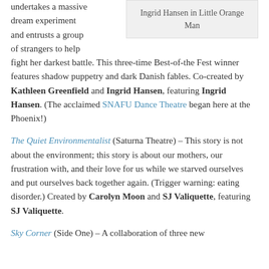Ingrid Hansen in Little Orange Man
undertakes a massive dream experiment and entrusts a group of strangers to help fight her darkest battle. This three-time Best-of-the Fest winner features shadow puppetry and dark Danish fables. Co-created by Kathleen Greenfield and Ingrid Hansen, featuring Ingrid Hansen. (The acclaimed SNAFU Dance Theatre began here at the Phoenix!)
The Quiet Environmentalist (Saturna Theatre) – This story is not about the environment; this story is about our mothers, our frustration with, and their love for us while we starved ourselves and put ourselves back together again. (Trigger warning: eating disorder.) Created by Carolyn Moon and SJ Valiquette, featuring SJ Valiquette.
Sky Corner (Side One) – A collaboration of three new